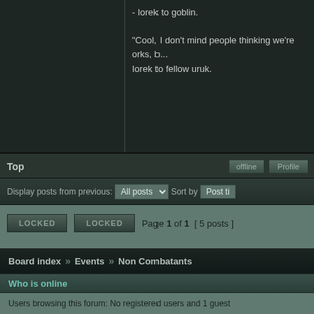- Iorek to goblin.

"Cool, I don't mind people thinking we're orks, b...
Iorek to fellow uruk.
Top
offline   Profile
Display posts from previous:   All posts   Sort by   Post ti...
LOCKED   LOCKED   Page 1 of 1  [ 5 posts ]
Board index » Events » Non Combatants
Who is online
Users browsing this forum: No registered users and 1 guest